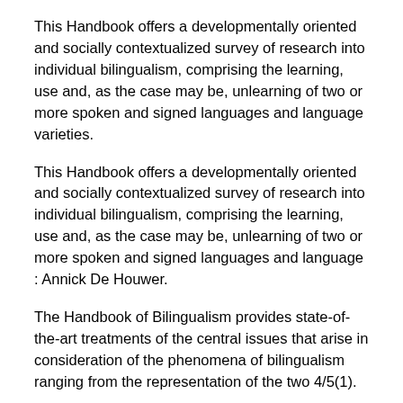This Handbook offers a developmentally oriented and socially contextualized survey of research into individual bilingualism, comprising the learning, use and, as the case may be, unlearning of two or more spoken and signed languages and language varieties.
This Handbook offers a developmentally oriented and socially contextualized survey of research into individual bilingualism, comprising the learning, use and, as the case may be, unlearning of two or more spoken and signed languages and language : Annick De Houwer.
The Handbook of Bilingualism provides state-of-the-art treatments of the central issues that arise in consideration of the phenomena of bilingualism ranging from the representation of the two 4/5(1).
Handbook of Bilingualism Psycholinguistic Approaches This handbook will be essential reading for cognitive psychologists, linguists, applied linguists, and educators who wish to better understand the cognitive basis of bilingualism and the logic of experimental and formal approaches to